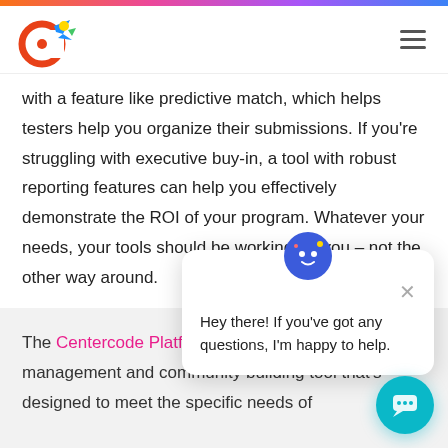[Figure (logo): Centercode colorful logo with circular C shape and bird/arrow mark in red, blue, yellow, green]
with a feature like predictive match, which helps testers help you organize their submissions. If you’re struggling with executive buy-in, a tool with robust reporting features can help you effectively demonstrate the ROI of your program. Whatever your needs, your tools should be working for you – not the other way around.
[Figure (screenshot): Chat popup overlay with mascot icon, close button, and text: Hey there! If you've got any questions, I'm happy to help.]
The Centercode Platform is an all-in-one test management and community building tool that’s designed to meet the specific needs of